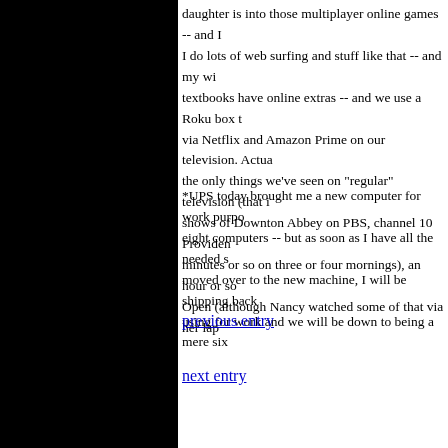daughter is into those multiplayer online games -- and I do lots of web surfing and stuff like that -- and my wi... textbooks have online extras -- and we use a Roku box ... via Netflix and Amazon Prime on our television. Actu... the only things we've seen on "regular" television (that i... shows of Downton Abbey on PBS, channel 10 Providen... minutes or so on three or four mornings), an hour or so ... Open (although Nancy watched some of that via her lap...
*UPS today brought me a new computer for work purpo... eight computers -- but as soon as I have all the needed s... moved over to the new machine, I will be shipping back... using for work and we will be down to being a mere six...
previous entry
To list e...
next entry
To Home...